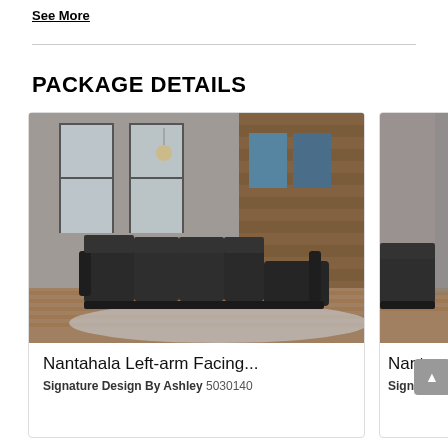See More
PACKAGE DETAILS
[Figure (photo): Dark charcoal leather sectional sofa with recliner and chaise in a modern living room with tall windows and wood accent wall]
Nantahala Left-arm Facing...
Signature Design By Ashley 5030140
[Figure (photo): Partially visible second product card showing a similar sectional sofa, cropped at right edge]
Nanta
Signature